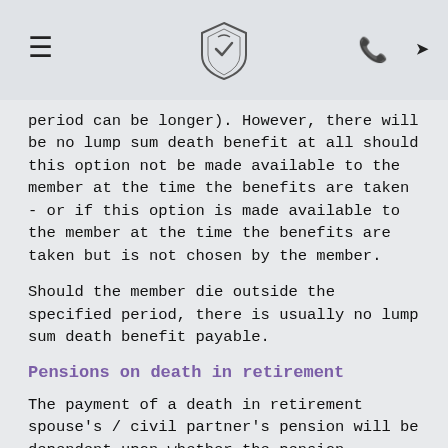[hamburger menu] [institution logo] [phone icon] [navigation icon]
period can be longer). However, there will be no lump sum death benefit at all should this option not be made available to the member at the time the benefits are taken - or if this option is made available to the member at the time the benefits are taken but is not chosen by the member.
Should the member die outside the specified period, there is usually no lump sum death benefit payable.
Pensions on death in retirement
The payment of a death in retirement spouse's / civil partner's pension will be dependent upon whether the pension purchased by the member at retirement provided for this contingency.
If a contracted-out member was married and retired prior to 6 April 2012, there had to be a provision for a 50% spouse's